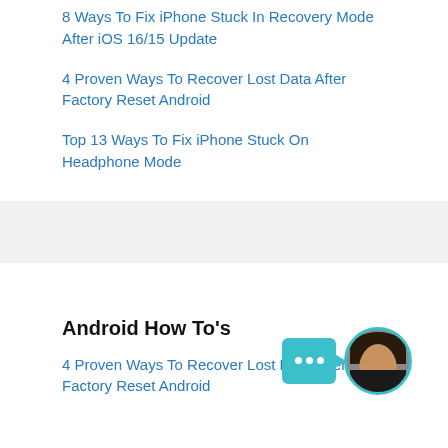8 Ways To Fix iPhone Stuck In Recovery Mode After iOS 16/15 Update
4 Proven Ways To Recover Lost Data After Factory Reset Android
Top 13 Ways To Fix iPhone Stuck On Headphone Mode
Android How To's
4 Proven Ways To Recover Lost Data After Factory Reset Android
[Figure (photo): Chat widget with teal speech bubble showing three dots, and circular avatar photo of a woman smiling]